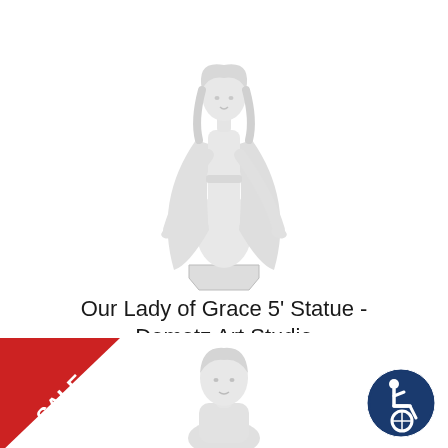[Figure (photo): White marble statue of Our Lady of Grace (Virgin Mary) with arms outstretched, standing on octagonal base, white background]
Our Lady of Grace 5' Statue - Demetz Art Studio
$4,130.00
[Figure (other): Blue rounded rectangle button labeled 'View']
[Figure (other): Red triangular SALE badge in bottom-left corner]
[Figure (photo): White marble bust/statue of a child or young figure, partially visible at bottom center]
[Figure (other): Circular accessibility icon badge in dark blue, bottom right corner]